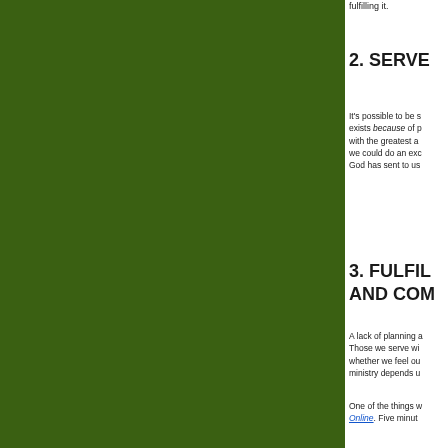fulfilling it.
2. SERVE
It's possible to be s... exists because of p... with the greatest a... we could do an exc... God has sent to us...
3. FULFIL... AND COM...
A lack of planning a... Those we serve wi... whether we feel ou... ministry depends u...
One of the things w... Online. Five minut...